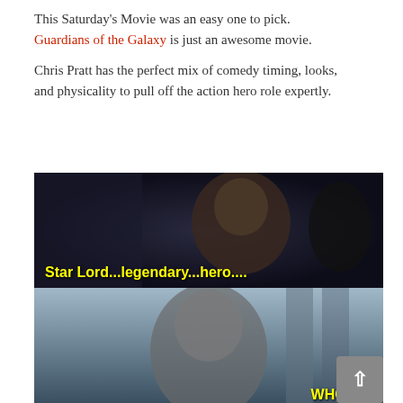This Saturday's Movie was an easy one to pick. Guardians of the Galaxy is just an awesome movie.
Chris Pratt has the perfect mix of comedy timing, looks, and physicality to pull off the action hero role expertly.
[Figure (photo): Two-panel movie meme from Guardians of the Galaxy. Top panel shows Star Lord (Chris Pratt) with subtitle text 'Star Lord...legendary...hero....' in yellow. Bottom panel shows an alien character with subtitle text 'WHO???' in yellow.]